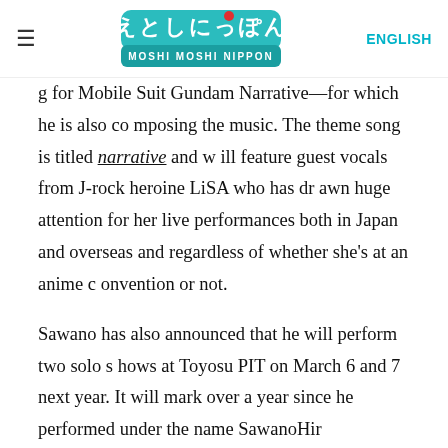≡  MOSHI MOSHI NIPPON  ENGLISH
g for Mobile Suit Gundam Narrative—for which he is also composing the music. The theme song is titled narrative and will feature guest vocals from J-rock heroine LiSA who has drawn huge attention for her live performances both in Japan and overseas and regardless of whether she's at an anime convention or not.
Sawano has also announced that he will perform two solo shows at Toyosu PIT on March 6 and 7 next year. It will mark over a year since he performed under the name SawanoHiroyuki[nZk] in February this year. It has yet to be announced who will be joining him as a guest vocalist, but with so many famous collaborations in his work, anticipation is high. All we can do is wait and see.